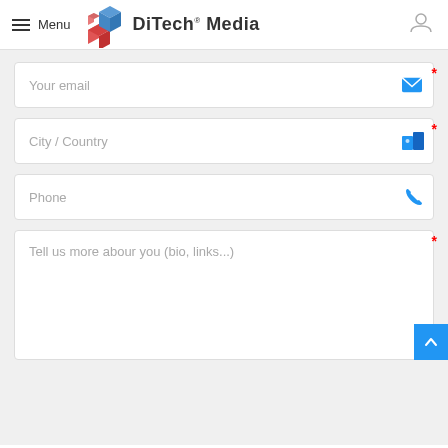Menu | DiTech® Media
Your email
City / Country
Phone
Tell us more abour you (bio, links...)